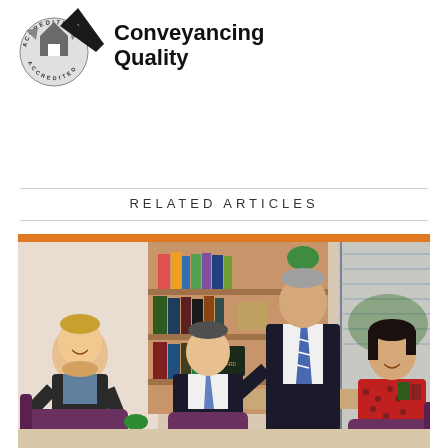[Figure (logo): Conveyancing Quality accredited logo with checkmark and circular badge]
RELATED ARTICLES
[Figure (photo): Group photo of four professionals (three men and one woman) in a modern office setting with bookshelves, seated and standing in purple chairs]